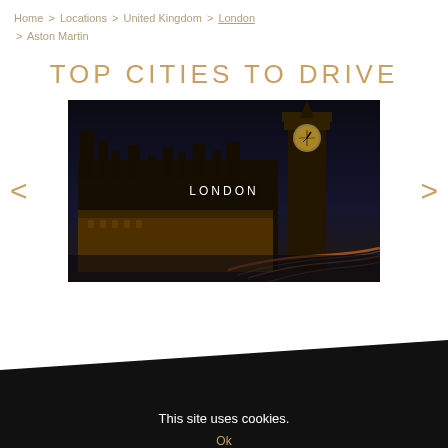Home > Locations > United Kingdom > London > Aston Martin
TOP CITIES TO DRIVE
[Figure (photo): Nighttime photo of London showing the Houses of Parliament and Big Ben, with light trails from traffic. The text 'LONDON' is overlaid in the center.]
This site uses cookies.
Ok